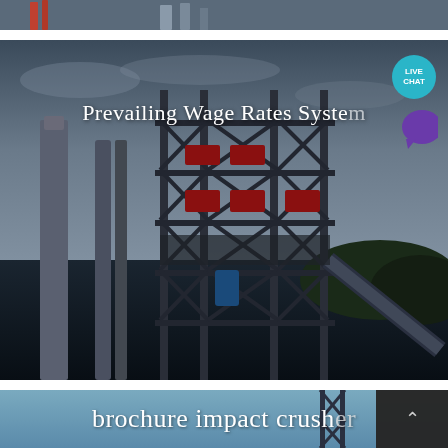[Figure (photo): Top strip of an industrial facility photo, partially visible at the top edge of the page]
[Figure (photo): Large industrial facility with steel lattice tower structure, pipes, and conveyor belts photographed against a cloudy sky at dusk/dawn]
Prevailing Wage Rates System
[Figure (other): Live Chat button bubble in teal/cyan color overlaid on the top-right of the middle image]
[Figure (photo): Bottom image showing a blue sky with industrial tower structure partially visible on the right side]
brochure impact crusher